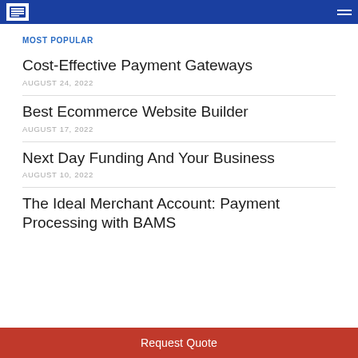BAMS navigation header
MOST POPULAR
Cost-Effective Payment Gateways
AUGUST 24, 2022
Best Ecommerce Website Builder
AUGUST 17, 2022
Next Day Funding And Your Business
AUGUST 10, 2022
The Ideal Merchant Account: Payment Processing with BAMS
Request Quote